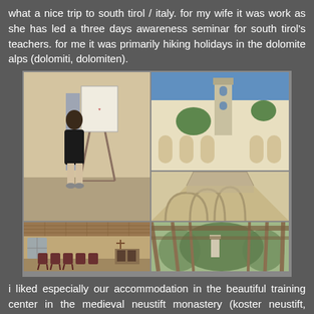what a nice trip to south tirol / italy. for my wife it was work as she has led a three days awareness seminar for south tirol's teachers. for me it was primarily hiking holidays in the dolomite alps (dolomiti, dolomiten).
[Figure (photo): A collage of five photos: a woman standing next to a flip chart in a seminar room; a courtyard of a historic monastery with a tower; Gothic arched corridors inside the monastery; a room with wooden ceiling, chairs and tables; a view through a lattice of wooden beams to a church tower and trees outside.]
i liked especially our accommodation in the beautiful training center in the medieval neustift monastery (koster neustift, südtirol) in vahrn (= italian varna) close to brixen (= italian bresassone). it was nice to walk inside the old corridors, eat